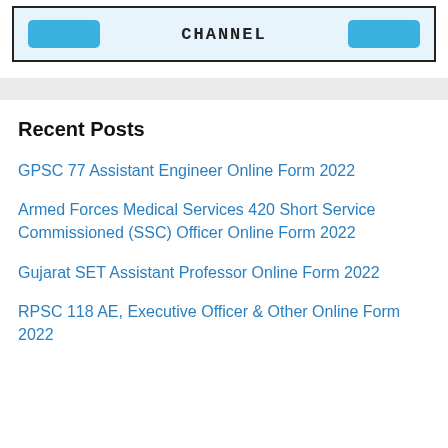[Figure (screenshot): Banner box with blue buttons on left and right and 'CHANNEL' text in the center]
Recent Posts
GPSC 77 Assistant Engineer Online Form 2022
Armed Forces Medical Services 420 Short Service Commissioned (SSC) Officer Online Form 2022
Gujarat SET Assistant Professor Online Form 2022
RPSC 118 AE, Executive Officer & Other Online Form 2022